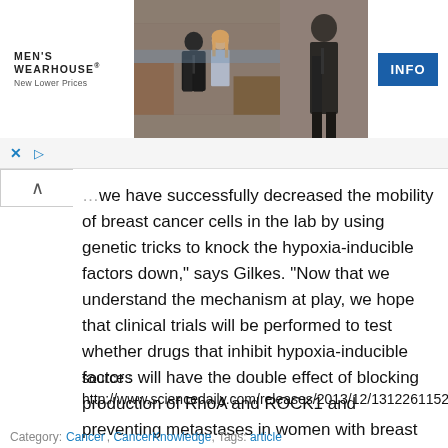[Figure (photo): Men's Wearhouse advertisement banner showing a couple in formal wear and a man in a suit, with an INFO button]
we have successfully decreased the mobility of breast cancer cells in the lab by using genetic tricks to knock the hypoxia-inducible factors down," says Gilkes. "Now that we understand the mechanism at play, we hope that clinical trials will be performed to test whether drugs that inhibit hypoxia-inducible factors will have the double effect of blocking production of RhoA and ROCK1 and preventing metastases in women with breast cancer."
source :
http://www.sciencedaily.com/releases/2013/12/131226115211.htm
Category: Cancer, CancerKnowledge, Tags: article